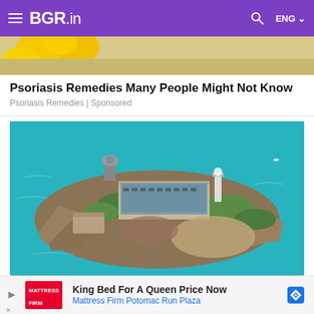BGR.in
[Figure (photo): Partial top of an image showing yellow flowers on a light/sandy background — top cropped ad image]
Psoriasis Remedies Many People Might Not Know
Psoriasis Remedies | Sponsored
[Figure (photo): Aerial photograph of Alcatraz Island surrounded by blue-green water of San Francisco Bay, showing the main prison building, rocky cliffs, and surrounding structures]
King Bed For A Queen Price Now
Mattress Firm Potomac Run Plaza